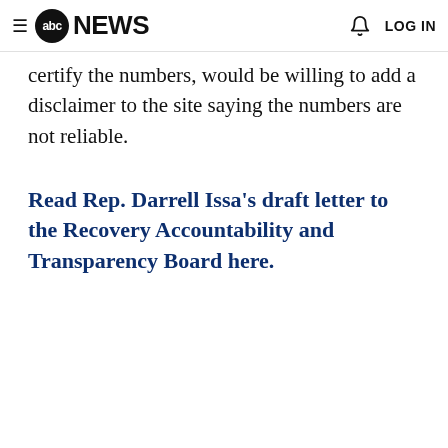abc NEWS  LOG IN
certify the numbers, would be willing to add a disclaimer to the site saying the numbers are not reliable.
Read Rep. Darrell Issa's draft letter to the Recovery Accountability and Transparency Board here.